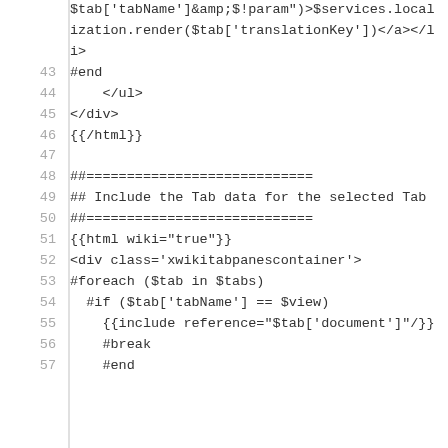Code listing lines 42-57 showing template/wiki markup with line numbers
[Figure (screenshot): Code editor view showing lines 42-57 of a wiki template file with line numbers on the left and monospace code on the right. Content includes HTML template markup with Velocity/wiki syntax.]